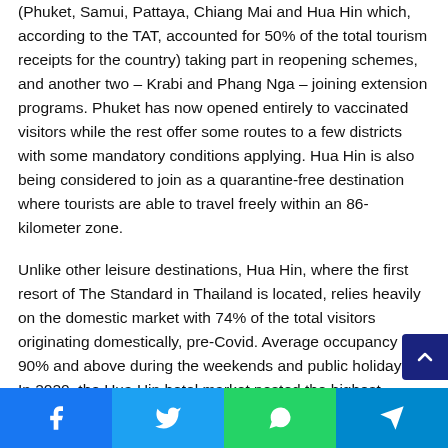(Phuket, Samui, Pattaya, Chiang Mai and Hua Hin which, according to the TAT, accounted for 50% of the total tourism receipts for the country) taking part in reopening schemes, and another two – Krabi and Phang Nga – joining extension programs. Phuket has now opened entirely to vaccinated visitors while the rest offer some routes to a few districts with some mandatory conditions applying. Hua Hin is also being considered to join as a quarantine-free destination where tourists are able to travel freely within an 86-kilometer zone.
Unlike other leisure destinations, Hua Hin, where the first resort of The Standard in Thailand is located, relies heavily on the domestic market with 74% of the total visitors originating domestically, pre-Covid. Average occupancy is 90% and above during the weekends and public holidays. In 2020, the Hua Hin hotel market posted the highest domestic occupan…